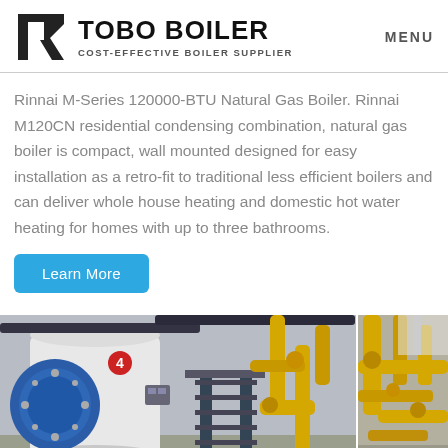TOBO BOILER — COST-EFFECTIVE BOILER SUPPLIER | MENU
Rinnai M-Series 120000-BTU Natural Gas Boiler. Rinnai M120CN residential condensing combination, natural gas boiler is compact, wall mounted designed for easy installation as a retro-fit to traditional less efficient boilers and can deliver whole house heating and domestic hot water heating for homes with up to three bathrooms.
Learn More
[Figure (photo): Industrial boiler facility showing a large cylindrical blue boiler with piping, stairs, and yellow gas pipes in the background. Two images side by side showing boiler equipment and yellow pipe installations.]